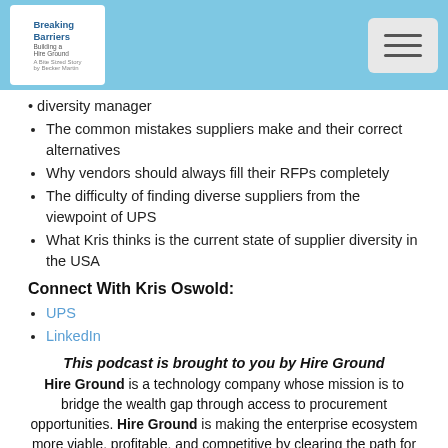Breaking Barriers – Building a Hire Ground (logo) | hamburger menu
diversity manager
The common mistakes suppliers make and their correct alternatives
Why vendors should always fill their RFPs completely
The difficulty of finding diverse suppliers from the viewpoint of UPS
What Kris thinks is the current state of supplier diversity in the USA
Connect With Kris Oswold:
UPS
LinkedIn
This podcast is brought to you by Hire Ground
Hire Ground is a technology company whose mission is to bridge the wealth gap through access to procurement opportunities. Hire Ground is making the enterprise ecosystem more viable, profitable, and competitive by clearing the path for minority-led, women-led, LGBT-led, and veteran-led small businesses to contribute to the global economy as